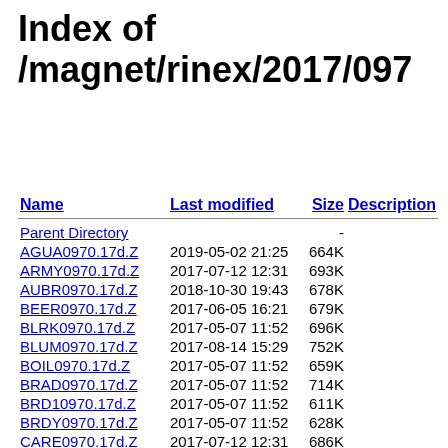Index of /magnet/rinex/2017/097
| Name | Last modified | Size | Description |
| --- | --- | --- | --- |
| Parent Directory |  | - |  |
| AGUA0970.17d.Z | 2019-05-02 21:25 | 664K |  |
| ARMY0970.17d.Z | 2017-07-12 12:31 | 693K |  |
| AUBR0970.17d.Z | 2018-10-30 19:43 | 678K |  |
| BEER0970.17d.Z | 2017-06-05 16:21 | 679K |  |
| BLRK0970.17d.Z | 2017-05-07 11:52 | 696K |  |
| BLUM0970.17d.Z | 2017-08-14 15:29 | 752K |  |
| BOIL0970.17d.Z | 2017-05-07 11:52 | 659K |  |
| BRAD0970.17d.Z | 2017-05-07 11:52 | 714K |  |
| BRD10970.17d.Z | 2017-05-07 11:52 | 611K |  |
| BRDY0970.17d.Z | 2017-05-07 11:52 | 628K |  |
| CARE0970.17d.Z | 2017-07-12 12:31 | 686K |  |
| CASI0970.17d.Z | 2017-05-07 11:52 | 730K |  |
| CHIR0970.17d.Z | 2019-05-02 21:25 | 657K |  |